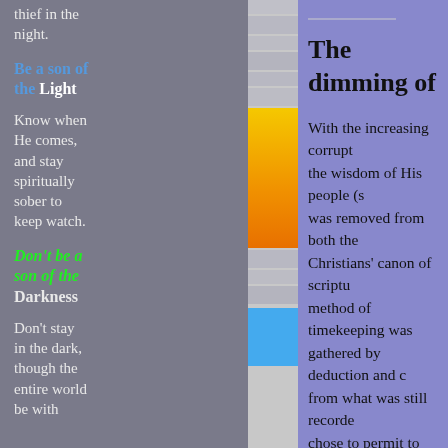thief in the night.
Be a son of the Light
Know when He comes, and stay spiritually sober to keep watch.
Don't be a son of the Darkness
Don't stay in the dark, though the entire world be with
[Figure (other): Blurred middle column with yellow/orange gradient block and blue block]
The dimming of
With the increasing corrupt the wisdom of His people (s was removed from both the Christians' canon of scriptu method of timekeeping was gathered by deduction and c from what was still recorde chose to permit to remain i degeneration of the timekee Light necessitated the devel the sons of the darkness.